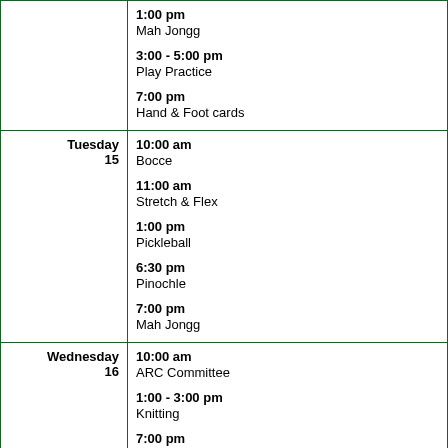| Day | Events |
| --- | --- |
| (continued) | 1:00 pm
Mah Jongg

3:00 - 5:00 pm
Play Practice

7:00 pm
Hand & Foot cards |
| Tuesday
15 | 10:00 am
Bocce

11:00 am
Stretch & Flex

1:00 pm
Pickleball

6:30 pm
Pinochle

7:00 pm
Mah Jongg |
| Wednesday
16 | 10:00 am
ARC Committee

1:00 - 3:00 pm
Knitting

7:00 pm |